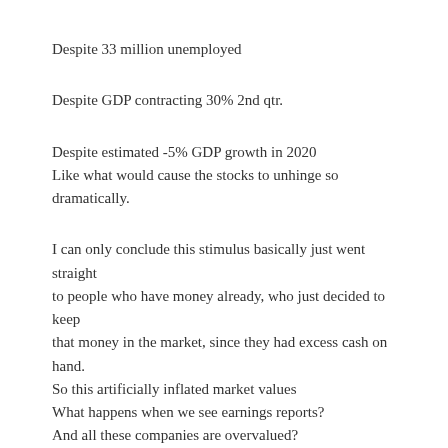Despite 33 million unemployed
Despite GDP contracting 30% 2nd qtr.
Despite estimated -5% GDP growth in 2020
Like what would cause the stocks to unhinge so dramatically.
I can only conclude this stimulus basically just went straight to people who have money already, who just decided to keep that money in the market, since they had excess cash on hand. So this artificially inflated market values
What happens when we see earnings reports?
And all these companies are overvalued?
Will that even matter?